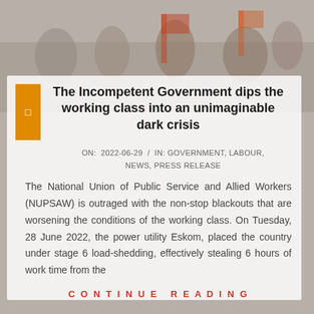[Figure (photo): Background photo of people at a protest or union gathering, partially visible with orange flags/banners, faded into the background]
The Incompetent Government dips the working class into an unimaginable dark crisis
ON: 2022-06-29 / IN: GOVERNMENT, LABOUR, NEWS, PRESS RELEASE
The National Union of Public Service and Allied Workers (NUPSAW) is outraged with the non-stop blackouts that are worsening the conditions of the working class. On Tuesday, 28 June 2022, the power utility Eskom, placed the country under stage 6 load-shedding, effectively stealing 6 hours of work time from the
CONTINUE READING